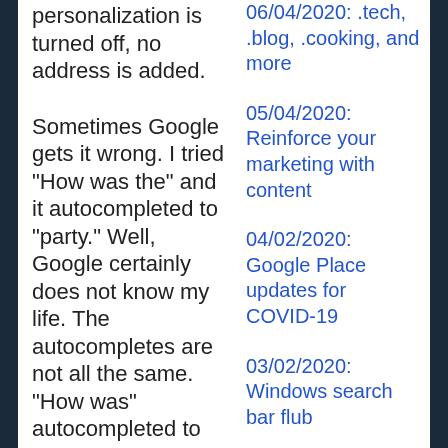personalization is turned off, no address is added.
Sometimes Google gets it wrong. I tried "How was the" and it autocompleted to "party." Well, Google certainly does not know my life. The autocompletes are not all the same. "How was" autocompleted to "your weekend." When it to...
06/04/2020: .tech, .blog, .cooking, and more
05/04/2020: Reinforce your marketing with content
04/02/2020: Google Place updates for COVID-19
03/02/2020: Windows search bar flub